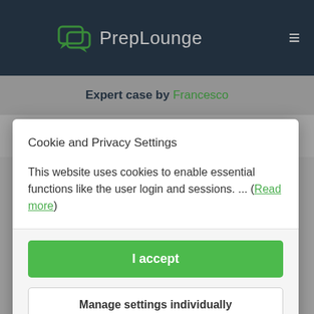PrepLounge
Expert case by Francesco
Bain 1st Round Case – BlissOttica
Cookie and Privacy Settings
This website uses cookies to enable essential functions like the user login and sessions. ... (Read more)
I accept
Manage settings individually